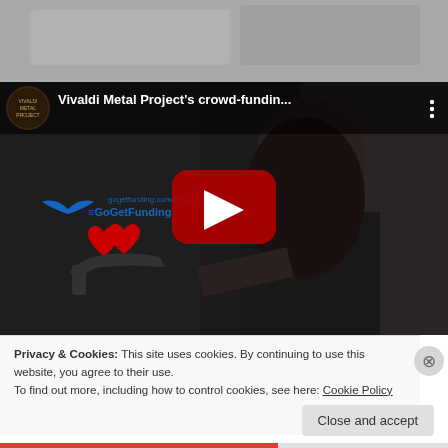[Figure (screenshot): Top portion of a video or image, partially cropped, showing a blurred background scene]
[Figure (screenshot): YouTube video embed showing 'Vivaldi Metal Project's crowd-fundin...' with a play button overlay. The thumbnail shows a person in black costume and top hat pointing at the camera, with GoGetFunding logo and heart-hand graphic on the left side.]
Privacy & Cookies: This site uses cookies. By continuing to use this website, you agree to their use.
To find out more, including how to control cookies, see here: Cookie Policy
Close and accept